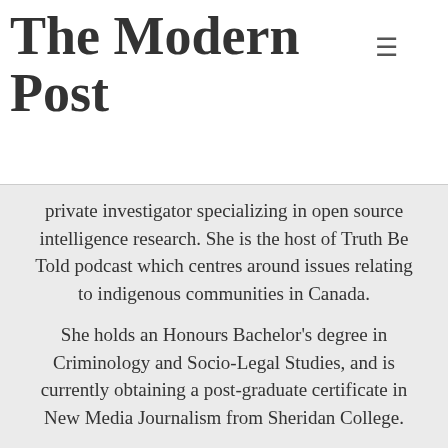The Modern Post
private investigator specializing in open source intelligence research. She is the host of Truth Be Told podcast which centres around issues relating to indigenous communities in Canada.

She holds an Honours Bachelor's degree in Criminology and Socio-Legal Studies, and is currently obtaining a post-graduate certificate in New Media Journalism from Sheridan College.

You can find more of Danielle's work here: http://danielleorr.mystrikingly.com/
VIEW ALL ARTICLES